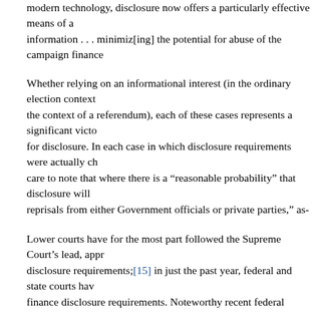modern technology, disclosure now offers a particularly effective means of a... information . . . minimiz[ing] the potential for abuse of the campaign finance...
Whether relying on an informational interest (in the ordinary election context... the context of a referendum), each of these cases represents a significant vict... for disclosure. In each case in which disclosure requirements were actually ch... care to note that where there is a "reasonable probability" that disclosure wil... reprisals from either Government officials or private parties," as-applied cha...
Lower courts have for the most part followed the Supreme Court's lead, appr... disclosure requirements;[15] in just the past year, federal and state courts hav... finance disclosure requirements. Noteworthy recent federal appellate cases in... upholding a Delaware statute requiring third parties that engage in electionee... names of donors above $100;[16] a Tenth Circuit decision upholding a simila... cases from the Ninth Circuit: a pair of unsuccessful challenges, first facial[18]... California statute authorizing the Attorney General to collect information fro... the identities of "significant donors;"[20] and a third case upholding Hawaii's... disclaimer and disclosure requirements.[21]
II. A Note of Caution
At first blush, then, the news right now is mostly good if you favor disclosu...